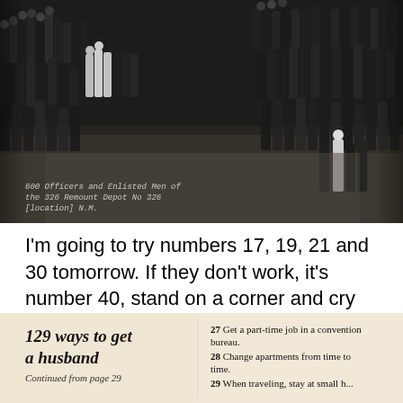[Figure (photo): Black and white historical photograph showing hundreds of officers and enlisted men standing in formation, arranged in two long curved lines facing each other on an open ground. A handwritten caption at the bottom reads: '600 Officers and Enlisted Men of the 326 Remount Depot No 326 [location] N.M.']
I'm going to try numbers 17, 19, 21 and 30 tomorrow. If they don't work, it's number 40, stand on a corner and cry then number 24, looking for 'leftovers' 😂
[Figure (photo): Partial view of a vintage magazine or book page with the title '129 ways to get a husband' in bold italic serif font, subtitle 'Continued from page 29', and numbered list items 27, 28, 29 visible on the right: '27 Get a part-time job in a convention bureau. 28 Change apartments from time to time. 29 When traveling, stay at small h...']